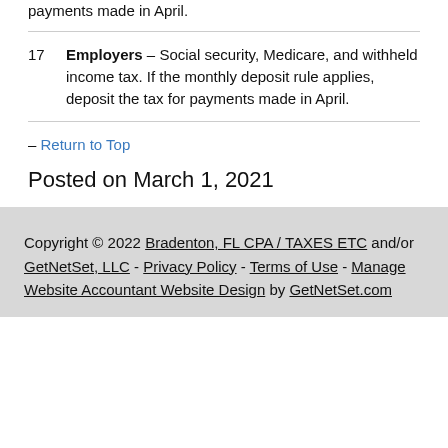payments made in April.
17   Employers – Social security, Medicare, and withheld income tax. If the monthly deposit rule applies, deposit the tax for payments made in April.
– Return to Top
Posted on March 1, 2021
Copyright © 2022 Bradenton, FL CPA / TAXES ETC and/or GetNetSet, LLC - Privacy Policy - Terms of Use - Manage Website Accountant Website Design by GetNetSet.com